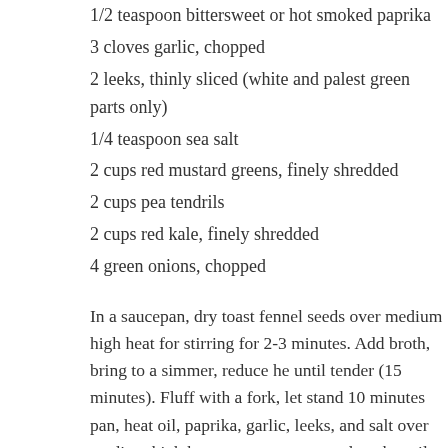1/2 teaspoon bittersweet or hot smoked paprika
3 cloves garlic, chopped
2 leeks, thinly sliced (white and palest green parts only)
1/4 teaspoon sea salt
2 cups red mustard greens, finely shredded
2 cups pea tendrils
2 cups red kale, finely shredded
4 green onions, chopped
In a saucepan, dry toast fennel seeds over medium high heat for stirring for 2-3 minutes. Add broth, bring to a simmer, reduce he until tender (15 minutes). Fluff with a fork, let stand 10 minutes pan, heat oil, paprika, garlic, leeks, and salt over medium high h greens, cover pan and cook until barely wilted (2-3 minutes). Se green onions. Serves 4.
Share this: